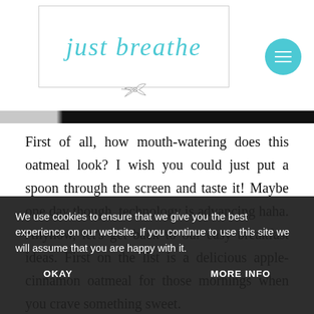[Figure (logo): Just Breathe blog logo with cursive teal text inside a thin rectangle border, with a small hummingbird illustration below]
First of all, how mouth-watering does this oatmeal look? I wish you could just put a spoon through the screen and taste it! Maybe one day though, technology is advancing haha. Anyhow, let's get back to our easy breakfast ideas. First on the list is a delicious apple-cinnamon oatmeal for those mornings when you crave something sweet.
We use cookies to ensure that we give you the best experience on our website. If you continue to use this site we will assume that you are happy with it.
OKAY
MORE INFO